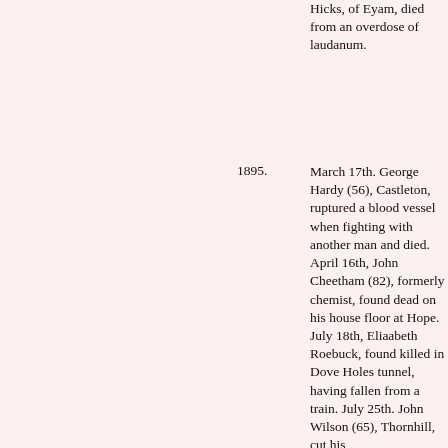Hicks, of Eyam, died from an overdose of laudanum.
1895. March 17th. George Hardy (56), Castleton, ruptured a blood vessel when fighting with another man and died. April 16th, John Cheetham (82), formerly chemist, found dead on his house floor at Hope. July 18th, Eliaabeth Roebuck, found killed in Dove Holes tunnel, having fallen from a train. July 25th. John Wilson (65), Thornhill, cut his